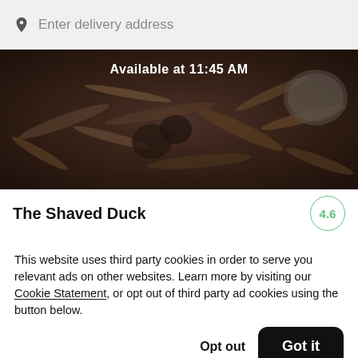Enter delivery address
[Figure (photo): Partial food photo showing shredded meat dish with overlay text 'Available at 11:45 AM']
The Shaved Duck
4.6
[Figure (photo): Partial strip of a second food photo]
This website uses third party cookies in order to serve you relevant ads on other websites. Learn more by visiting our Cookie Statement, or opt out of third party ad cookies using the button below.
Opt out
Got it